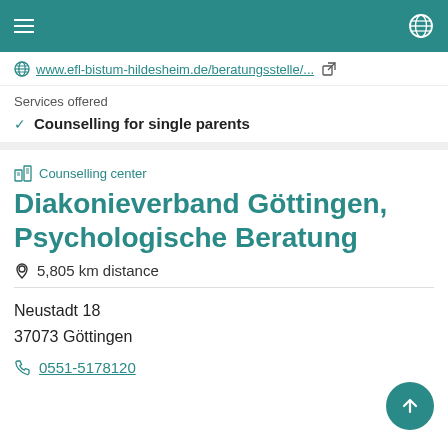www.efl-bistum-hildesheim.de/beratungsstelle/...
Services offered
Counselling for single parents
Counselling center
Diakonieverband Göttingen, Psychologische Beratung
5,805 km distance
Neustadt 18
37073 Göttingen
0551-5178120